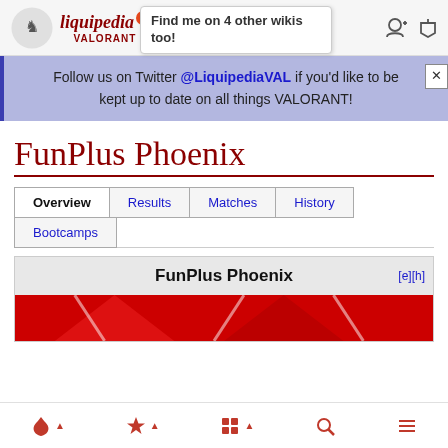liquipedia 4 VALORANT — Find me on 4 other wikis too!
Follow us on Twitter @LiquipediaVAL if you'd like to be kept up to date on all things VALORANT!
FunPlus Phoenix
Overview
Results
Matches
History
Bootcamps
FunPlus Phoenix [e][h]
Navigation icons: fire, trophy, puzzle, search, list